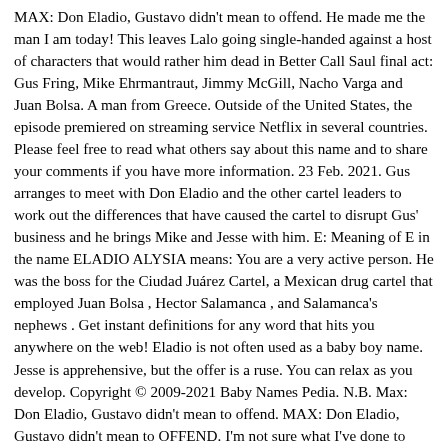MAX: Don Eladio, Gustavo didn't mean to offend. He made me the man I am today! This leaves Lalo going single-handed against a host of characters that would rather him dead in Better Call Saul final act: Gus Fring, Mike Ehrmantraut, Jimmy McGill, Nacho Varga and Juan Bolsa. A man from Greece. Outside of the United States, the episode premiered on streaming service Netflix in several countries. Please feel free to read what others say about this name and to share your comments if you have more information. 23 Feb. 2021. Gus arranges to meet with Don Eladio and the other cartel leaders to work out the differences that have caused the cartel to disrupt Gus' business and he brings Mike and Jesse with him. E: Meaning of E in the name ELADIO ALYSIA means: You are a very active person. He was the boss for the Ciudad Juárez Cartel, a Mexican drug cartel that employed Juan Bolsa , Hector Salamanca , and Salamanca's nephews . Get instant definitions for any word that hits you anywhere on the web! Eladio is not often used as a baby boy name. Jesse is apprehensive, but the offer is a ruse. You can relax as you develop. Copyright © 2009-2021 Baby Names Pedia. N.B. Max: Don Eladio, Gustavo didn't mean to offend. MAX: Don Eladio, Gustavo didn't mean to OFFEND. I'm not sure what I've done to OFFEND you. Definitions.net. Eladio is a variant transcription of Heladio (Spanish). Another word for a boss of a mafia family. See also the related categories, greek and spanish. Breaking Bad Season 4, Episode 8. He enjoys the opportunity to dive and explore the countless oddities relying in